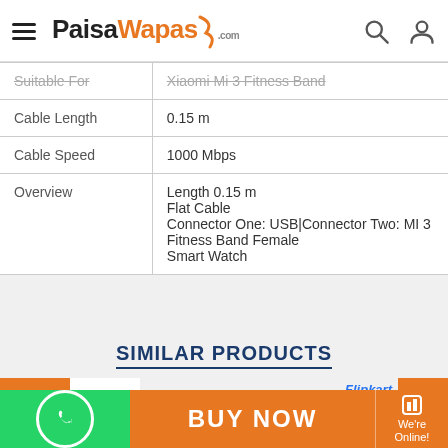PaisaWapas.com
| Attribute | Value |
| --- | --- |
| Suitable For | Xiaomi Mi 3 Fitness Band |
| Cable Length | 0.15 m |
| Cable Speed | 1000 Mbps |
| Overview | Length 0.15 m
Flat Cable
Connector One: USB|Connector Two: MI 3 Fitness Band Female
Smart Watch |
SIMILAR PRODUCTS
[Figure (other): 40% OFF discount badge and product thumbnail for similar product listing]
Tygar Power Silicone Band Fitness Band
BUY NOW | We're Online!